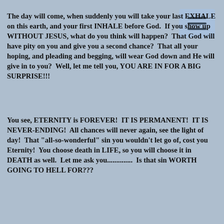The day will come, when suddenly you will take your last EXHALE on this earth, and your first INHALE before God.  If you show up WITHOUT JESUS, what do you think will happen?  That God will have pity on you and give you a second chance?  That all your hoping, and pleading and begging, will wear God down and He will give in to you?  Well, let me tell you, YOU ARE IN FOR A BIG SURPRISE!!!
You see, ETERNITY is FOREVER!  IT IS PERMANENT!  IT IS NEVER-ENDING!  All chances will never again, see the light of day!  That "all-so-wonderful" sin you wouldn't let go of, cost you Eternity!  You choose death in LIFE, so you will choose it in DEATH as well.  Let me ask you..............  Is that sin WORTH GOING TO HELL FOR???